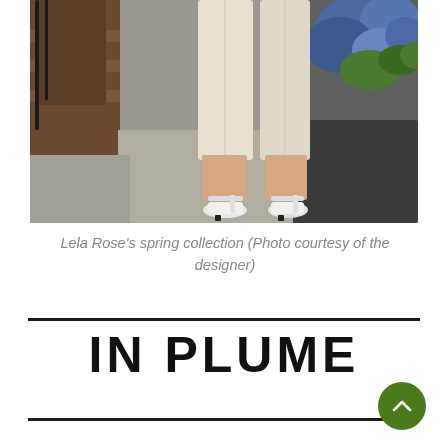[Figure (photo): Close-up photo of a person wearing light cream/white linen cropped trousers and white pointed-toe Mary Jane heels, standing on a sidewalk near brownstone steps with blue hydrangeas in a dark planter in the background.]
Lela Rose's spring collection (Photo courtesy of the designer)
IN PLUME